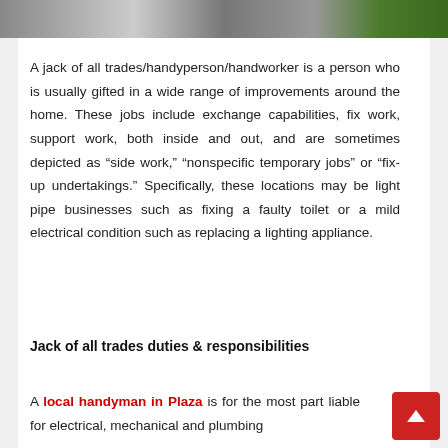[Figure (photo): Banner photograph showing outdoor/home improvement scene with greenery]
A jack of all trades/handyperson/handworker is a person who is usually gifted in a wide range of improvements around the home. These jobs include exchange capabilities, fix work, support work, both inside and out, and are sometimes depicted as “side work,” “nonspecific temporary jobs” or “fix-up undertakings.” Specifically, these locations may be light pipe businesses such as fixing a faulty toilet or a mild electrical condition such as replacing a lighting appliance.
Jack of all trades duties & responsibilities
A local handyman in Plaza is for the most part liable for electrical, mechanical and plumbing